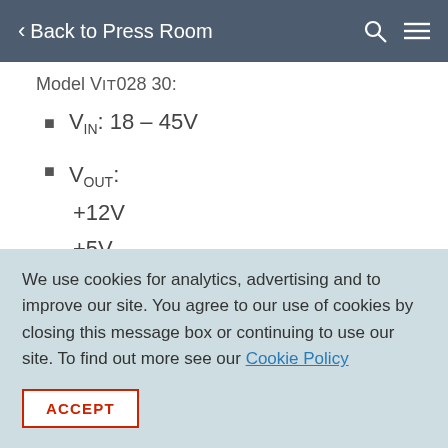< Back to Press Room
Model VIT028 30:
VIN: 18 – 45V
VOUT:
+12V
+5V
+3.3V
+12V
We use cookies for analytics, advertising and to improve our site. You agree to our use of cookies by closing this message box or continuing to use our site. To find out more see our Cookie Policy
ACCEPT